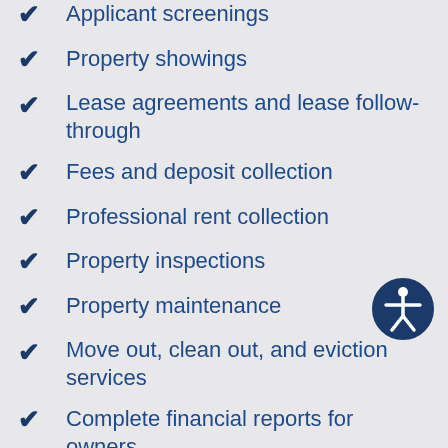Applicant screenings (partial, cut off at top)
Property showings
Lease agreements and lease follow-through
Fees and deposit collection
Professional rent collection
Property inspections
Property maintenance
Move out, clean out, and eviction services
Complete financial reports for owners
We focus only on property management